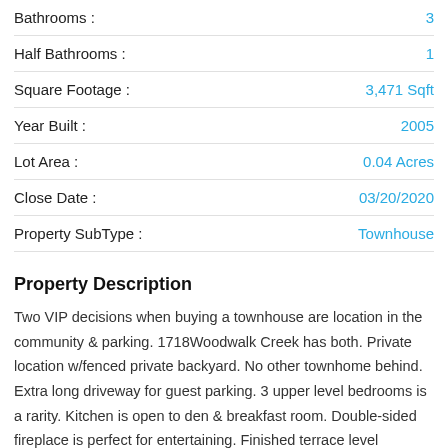Bathrooms : 3
Half Bathrooms : 1
Square Footage : 3,471 Sqft
Year Built : 2005
Lot Area : 0.04 Acres
Close Date : 03/20/2020
Property SubType : Townhouse
Property Description
Two VIP decisions when buying a townhouse are location in the community & parking. 1718Woodwalk Creek has both. Private location w/fenced private backyard. No other townhome behind. Extra long driveway for guest parking. 3 upper level bedrooms is a rarity. Kitchen is open to den & breakfast room. Double-sided fireplace is perfect for entertaining. Finished terrace level w/bedroom & full bath makes this a 4 bedroom 3.5 bath home. Hardwood floors throughout. Minutes from Suntrust Park. Across from The